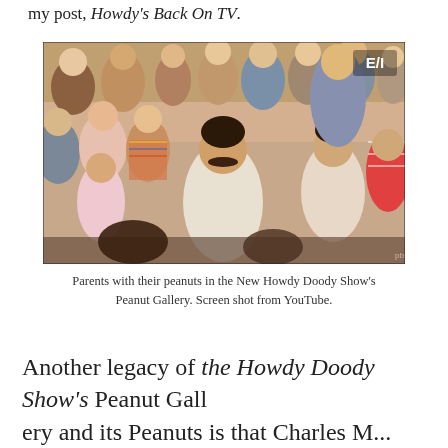my post, Howdy's Back On TV.
[Figure (photo): A crowd of parents and children in the New Howdy Doody Show's Peanut Gallery, photographed from below. Adults and kids are seated in bleachers, looking animated. An E/I logo is visible in the upper right corner.]
Parents with their peanuts in the New Howdy Doody Show's Peanut Gallery. Screen shot from YouTube.
Another legacy of the Howdy Doody Show's Peanut Gallery and its Peanuts is that Charles M...